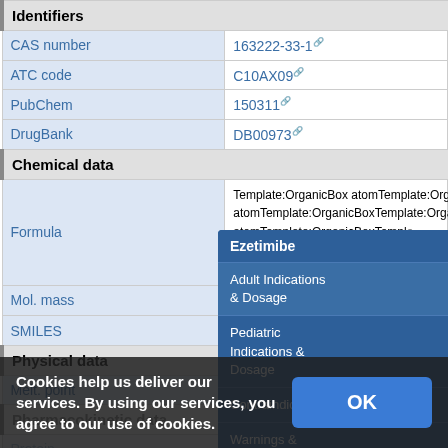Identifiers
| Field | Value |
| --- | --- |
| CAS number | 163222-33-1 |
| ATC code | C10AX09 |
| PubChem | 150311 |
| DrugBank | DB00973 |
Chemical data
| Field | Value |
| --- | --- |
| Formula | Template:OrganicBox atomTemplate:OrganicBox atomTemplate:OrganicBoxTemplate:OrganicBoxTempl... atomTemplate:OrganicBoxTempl... atomTemplate:OrganicBoxTempl... atomTemplate:OrganicBoxTempl... |
| Mol. mass | 409.4 g·mol⁻¹ |
| SMILES | eMolecules & PubChem |
Physical data
| Field | Value |
| --- | --- |
| Melt. point | 164–166 °C (327–331 °F) |
Pharmacokinetic data
| Field | Value |
| --- | --- |
| Protein binding | >90% |
Ezetimibe navigation panel with: Adult Indications & Dosage, Pediatric Indications & Dosage, Contraindications, Warnings &, Adverse Reactions, Drug Interactions
Cookies help us deliver our services. By using our services, you agree to our use of cookies. OK